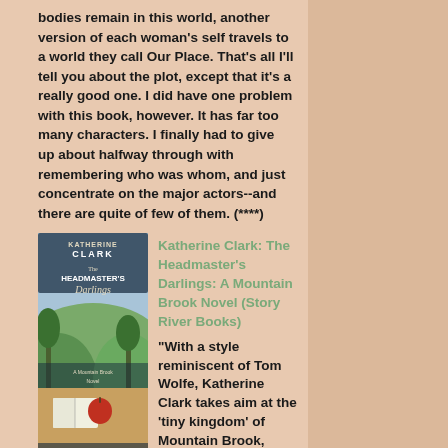bodies remain in this world, another version of each woman's self travels to a world they call Our Place. That's all I'll tell you about the plot, except that it's a really good one. I did have one problem with this book, however. It has far too many characters. I finally had to give up about halfway through with remembering who was whom, and just concentrate on the major actors--and there are quite of few of them. (****)
[Figure (illustration): Book cover of 'The Headmaster's Darlings: A Mountain Brook Novel' by Katherine Clark, foreword by Pat Conroy. Cover shows a scenic view with trees, an apple, and an open book.]
Katherine Clark: The Headmaster's Darlings: A Mountain Brook Novel (Story River Books) "With a style reminiscent of Tom Wolfe, Katherine Clark takes aim at the 'tiny kingdom' of Mountain Brook, Alabama, in her frank and feisty debut novel, The Headmaster's Darlings. In her riveting narrative, Clark